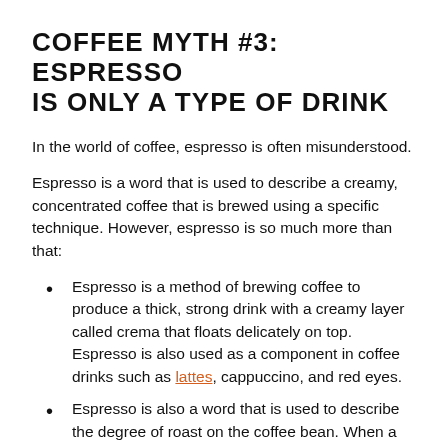COFFEE MYTH #3: ESPRESSO IS ONLY A TYPE OF DRINK
In the world of coffee, espresso is often misunderstood.
Espresso is a word that is used to describe a creamy, concentrated coffee that is brewed using a specific technique. However, espresso is so much more than that:
Espresso is a method of brewing coffee to produce a thick, strong drink with a creamy layer called crema that floats delicately on top. Espresso is also used as a component in coffee drinks such as lattes, cappuccino, and red eyes.
Espresso is also a word that is used to describe the degree of roast on the coffee bean. When a bean is described as having an espresso roast, it means that it has been roasted until it has an internal temperature of at least 240°F and takes on a dark